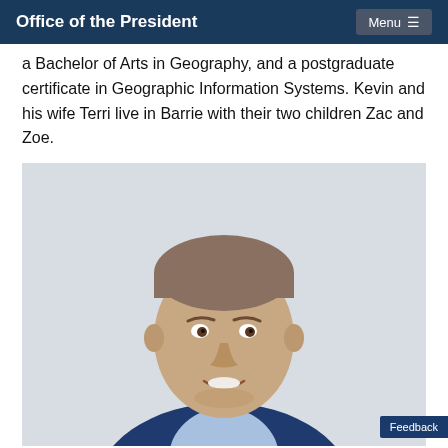Office of the President | Menu
a postgraduate certificate in Geographic Information Systems. Kevin and his wife Terri live in Barrie with their two children Zac and Zoe.
[Figure (photo): Professional headshot of a man in a blue suit and light blue shirt, smiling, against a light gray background.]